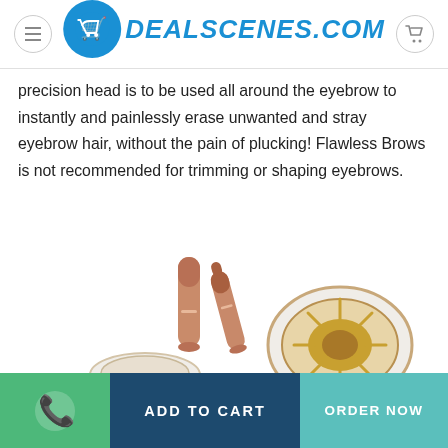DEALSCENES.COM
precision head is to be used all around the eyebrow to instantly and painlessly erase unwanted and stray eyebrow hair, without the pain of plucking! Flawless Brows is not recommended for trimming or shaping eyebrows.
[Figure (photo): Two rose-gold Flawless Brows eyebrow hair remover devices (one open, one capped) and two circular replacement head components shown against a white background.]